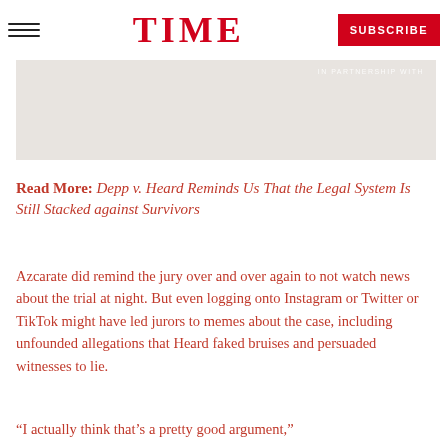TIME | SUBSCRIBE
[Figure (photo): Banner image with 'IN PARTNERSHIP WITH' text overlay, light grey background with faint figure.]
Read More: Depp v. Heard Reminds Us That the Legal System Is Still Stacked against Survivors
Azcarate did remind the jury over and over again to not watch news about the trial at night. But even logging onto Instagram or Twitter or TikTok might have led jurors to memes about the case, including unfounded allegations that Heard faked bruises and persuaded witnesses to lie.
“I actually think that’s a pretty good argument,”